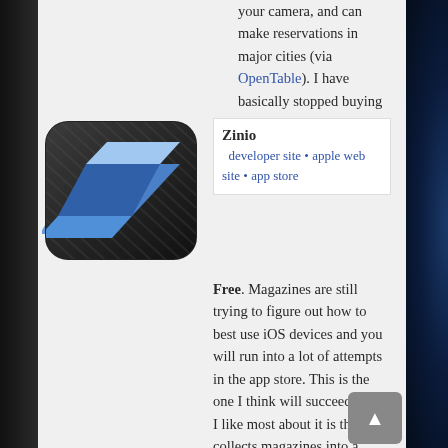your camera, and can make reservations in major cities (via OpenTable). I have basically stopped buying Zagat books and use this app instead.
[Figure (logo): Zinio app icon — dark rounded square with blue geometric Z-shaped logo made of angular 3D shapes]
Zinio
developer site • apple web site • app store
Free. Magazines are still trying to figure out how to best use iOS devices and you will run into a lot of attempts in the app store. This is the one I think will succeed. What I like most about it is that it collects magazines into a